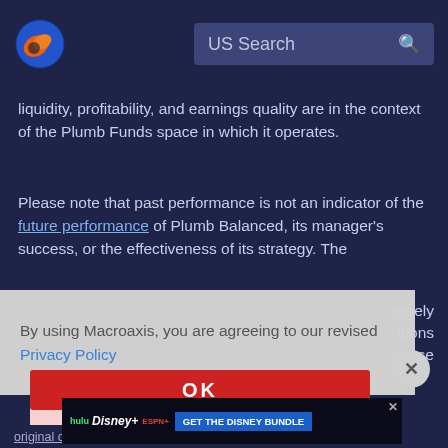[Figure (logo): Macroaxis logo — orange and blue circular icon]
US Search
liquidity, profitability, and earnings quality are in the context of the Plumb Funds space in which it operates.
Please note that past performance is not an indicator of the future performance of Plumb Balanced, its manager's success, or the effectiveness of its strategy. The
By using Macroaxis, you are agreeing to our revised Privacy Policy
OK
[Figure (screenshot): Disney bundle advertisement banner: hulu, Disney+, ESPN+ — GET THE DISNEY BUNDLE]
original cost